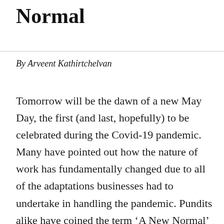Normal
By Arveent Kathirtchelvan
Tomorrow will be the dawn of a new May Day, the first (and last, hopefully) to be celebrated during the Covid-19 pandemic. Many have pointed out how the nature of work has fundamentally changed due to all of the adaptations businesses had to undertake in handling the pandemic. Pundits alike have coined the term ‘A New Normal’ for the way